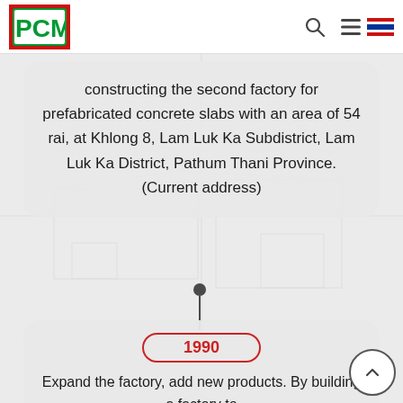PCM logo and navigation header
constructing the second factory for prefabricated concrete slabs with an area of 54 rai, at Khlong 8, Lam Luk Ka Subdistrict, Lam Luk Ka District, Pathum Thani Province. (Current address)
1990
Expand the factory, add new products. By building a factory to